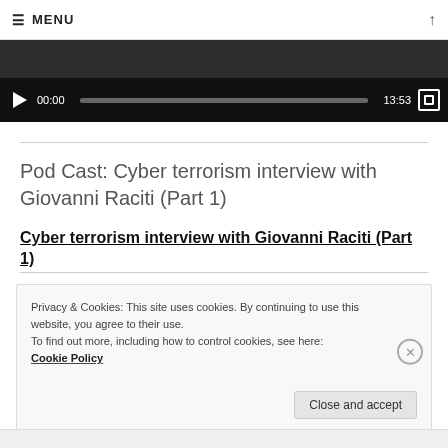≡ MENU
[Figure (screenshot): Video player with play button, progress bar showing 00:00 / 13:53, and fullscreen button on dark background]
Pod Cast: Cyber terrorism interview with Giovanni Raciti (Part 1)
Cyber terrorism interview with Giovanni Raciti (Part 1)
Privacy & Cookies: This site uses cookies. By continuing to use this website, you agree to their use.
To find out more, including how to control cookies, see here:
Cookie Policy
Close and accept